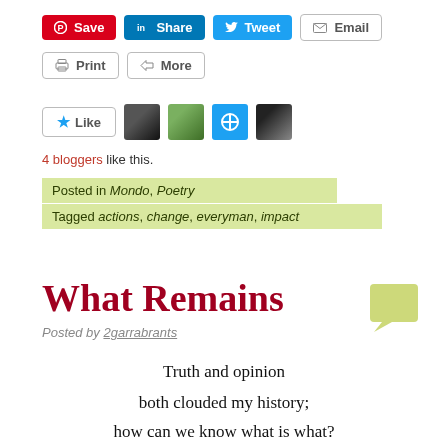[Figure (screenshot): Social sharing buttons row 1: Pinterest Save, LinkedIn Share, Twitter Tweet, Email]
[Figure (screenshot): Social sharing buttons row 2: Print, More]
[Figure (screenshot): Like button with star icon and 4 blogger avatars]
4 bloggers like this.
Posted in Mondo, Poetry
Tagged actions, change, everyman, impact
What Remains
Posted by 2garrabrants
Truth and opinion
both clouded my history;
how can we know what is what?